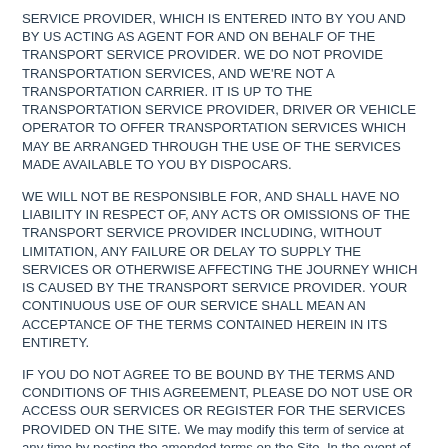SERVICE PROVIDER, WHICH IS ENTERED INTO BY YOU AND BY US ACTING AS AGENT FOR AND ON BEHALF OF THE TRANSPORT SERVICE PROVIDER. WE DO NOT PROVIDE TRANSPORTATION SERVICES, AND WE'RE NOT A TRANSPORTATION CARRIER. IT IS UP TO THE TRANSPORTATION SERVICE PROVIDER, DRIVER OR VEHICLE OPERATOR TO OFFER TRANSPORTATION SERVICES WHICH MAY BE ARRANGED THROUGH THE USE OF THE SERVICES MADE AVAILABLE TO YOU BY DISPOCARS.
WE WILL NOT BE RESPONSIBLE FOR, AND SHALL HAVE NO LIABILITY IN RESPECT OF, ANY ACTS OR OMISSIONS OF THE TRANSPORT SERVICE PROVIDER INCLUDING, WITHOUT LIMITATION, ANY FAILURE OR DELAY TO SUPPLY THE SERVICES OR OTHERWISE AFFECTING THE JOURNEY WHICH IS CAUSED BY THE TRANSPORT SERVICE PROVIDER. YOUR CONTINUOUS USE OF OUR SERVICE SHALL MEAN AN ACCEPTANCE OF THE TERMS CONTAINED HEREIN IN ITS ENTIRETY.
IF YOU DO NOT AGREE TO BE BOUND BY THE TERMS AND CONDITIONS OF THIS AGREEMENT, PLEASE DO NOT USE OR ACCESS OUR SERVICES OR REGISTER FOR THE SERVICES PROVIDED ON THE SITE. We may modify this term of service at any time by posting the amended terms on the Site. In the event of such amendments, all amended terms shall automatically be effective and binding when initially posted on the Site.